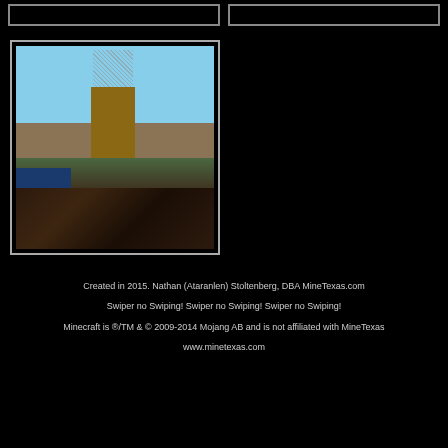[Figure (screenshot): Two placeholder/empty bordered boxes at the top of the page]
[Figure (screenshot): Minecraft screenshot showing a partially constructed building/tower with wooden blocks, scaffolding on top, water on the left side, dark terrain blocks in the foreground, and a blue sky background]
Created in 2015. Nathan (Ataranlen) Stoltenberg, DBA MineTexas.com
Swiper no Swiping! Swiper no Swiping! Swiper no Swiping!
Minecraft is ®/TM & © 2009-2014 Mojang AB and is not affiliated with MineTexas
www.minetexas.com